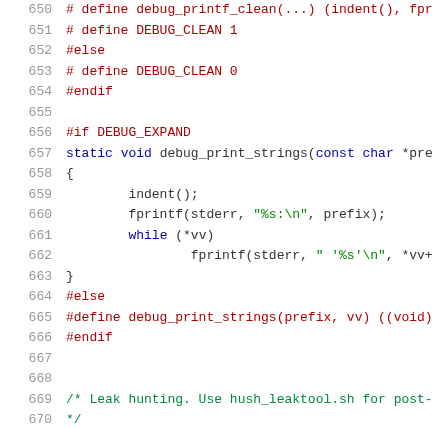[Figure (screenshot): Source code listing showing C preprocessor macros and a static function definition for debug printing, lines 650-670]